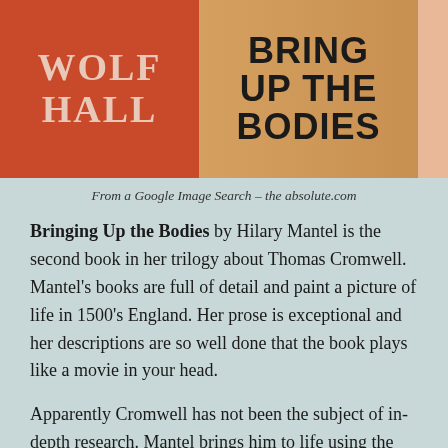[Figure (photo): Book covers for Wolf Hall (red cover with pink/cream text) and Bring Up the Bodies (wood-grain textured cover with black bold text), side by side with a peach/salmon colored spine visible on the right edge.]
From a Google Image Search – the absolute.com
Bringing Up the Bodies by Hilary Mantel is the second book in her trilogy about Thomas Cromwell. Mantel's books are full of detail and paint a picture of life in 1500's England. Her prose is exceptional and her descriptions are so well done that the book plays like a movie in your head.
Apparently Cromwell has not been the subject of in-depth research. Mantel brings him to life using the known to extrapolate about the